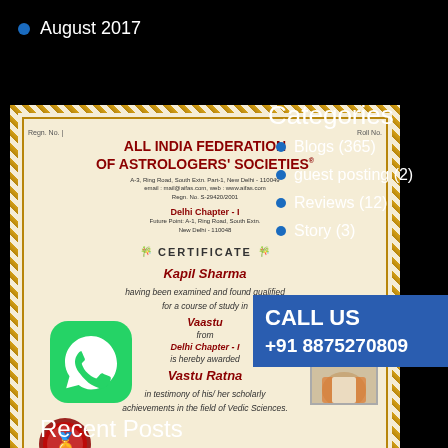August 2017
[Figure (photo): All India Federation of Astrologers' Societies certificate awarded to Kapil Sharma for Vastu Ratna from Delhi Chapter-1, scanned document]
Categories
Blogs (365)
guest posting (2)
Reviews (12)
Story (3)
CALL US +91 8875270809
[Figure (logo): WhatsApp icon (green chat bubble with phone handset)]
Recent Posts